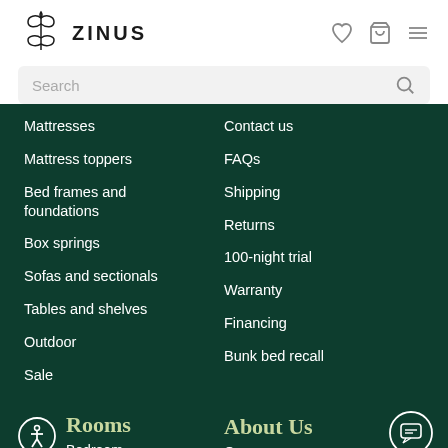[Figure (logo): Zinus brand logo with leaf/plant icon and ZINUS text]
[Figure (other): Heart, shopping cart, and hamburger menu icons in header]
Search
Mattresses
Mattress toppers
Bed frames and foundations
Box springs
Sofas and sectionals
Tables and shelves
Outdoor
Sale
Contact us
FAQs
Shipping
Returns
100-night trial
Warranty
Financing
Bunk bed recall
Rooms
About Us
Bedroom
Our company